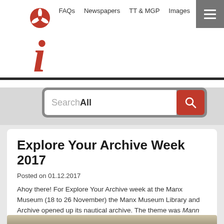[Figure (screenshot): Website header with Isle of Man iMuseum logo (red letter i with triskelion symbol), navigation links (FAQs, Newspapers, TT & MGP, Images), hamburger menu button, and search bar reading 'Search All']
Explore Your Archive Week 2017
Posted on 01.12.2017
Ahoy there! For Explore Your Archive week at the Manx Museum (18 to 26 November) the Manx Museum Library and Archive opened up its nautical archive. The theme was Mann on the High Seas and visitors were able to get up close to items such as historic Isle of Man Steam Packet Ledgers, customs records and prints.
[Figure (photo): Partially visible historical photograph at the bottom of the page]